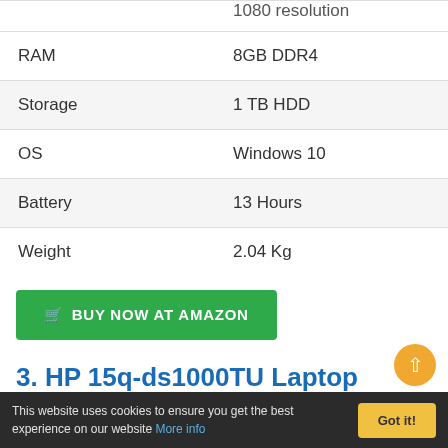| Spec | Value |
| --- | --- |
|  | 1080 resolution |
| RAM | 8GB DDR4 |
| Storage | 1 TB HDD |
| OS | Windows 10 |
| Battery | 13 Hours |
| Weight | 2.04 Kg |
BUY NOW AT AMAZON
3. HP 15q-ds1000TU Laptop
This website uses cookies to ensure you get the best experience on our website More info  Got it!